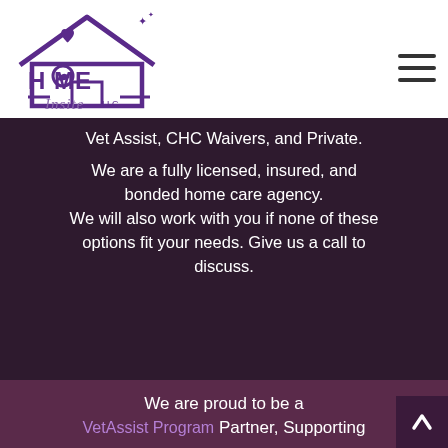[Figure (logo): Home Insite LLC logo — purple house with heart and dolphin forming the O in HOME, with cursive 'Insite LLC' below]
Vet Assist, CHC Waivers, and Private.
We are a fully licensed, insured, and bonded home care agency.
We will also work with you if none of these options fit your needs. Give us a call to discuss.
We are proud to be a
VetAssist Program Partner, Supporting